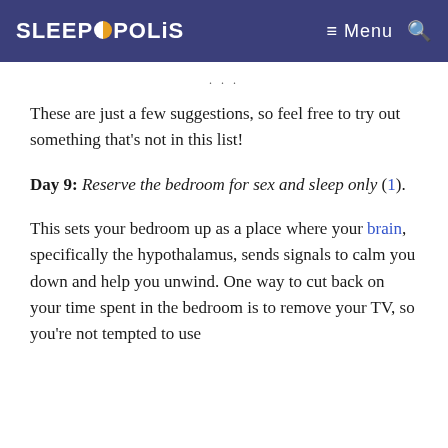SLEEPOPOLIS  ≡ Menu 🔍
These are just a few suggestions, so feel free to try out something that's not in this list!
Day 9: Reserve the bedroom for sex and sleep only (1).
This sets your bedroom up as a place where your brain, specifically the hypothalamus, sends signals to calm you down and help you unwind. One way to cut back on your time spent in the bedroom is to remove your TV, so you're not tempted to use